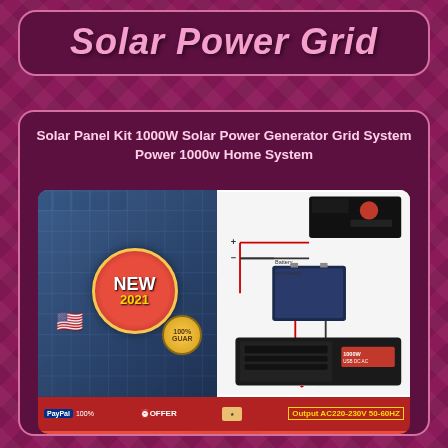Solar Power Grid
Solar Panel Kit 1000W Solar Power Generator Grid System Power 1000w Home System
[Figure (photo): Product listing image showing a solar panel on the left with a NEW 2021 badge and US flag, and a wiring diagram on the right showing a charge controller, battery (not included), and power inverter. Bottom shows PayPal, ORDER NOW button, and US STOCK - FREE SHIPPING text.]